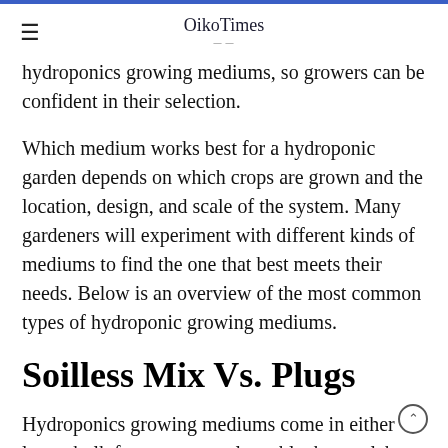OikoTimes
hydroponics growing mediums, so growers can be confident in their selection.
Which medium works best for a hydroponic garden depends on which crops are grown and the location, design, and scale of the system. Many gardeners will experiment with different kinds of mediums to find the one that best meets their needs. Below is an overview of the most common types of hydroponic growing mediums.
Soilless Mix Vs. Plugs
Hydroponics growing mediums come in either loose, bulk forms or neat plugs, blocks, or slabs. The loose